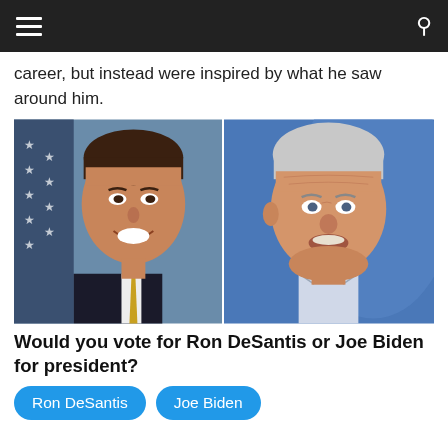Navigation bar with menu and search icons
career, but instead were inspired by what he saw around him.
[Figure (photo): Side-by-side portrait photos of Ron DeSantis (left, official congressional photo in front of American flag) and Joe Biden (right, speaking at an event in front of blue background)]
Would you vote for Ron DeSantis or Joe Biden for president?
Ron DeSantis
Joe Biden